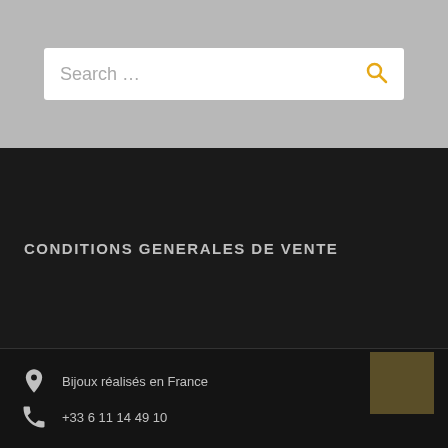[Figure (screenshot): Search bar with placeholder text 'Search ...' and a yellow magnifying glass icon on a grey background]
CONDITIONS GENERALES DE VENTE
Bijoux réalisés en France
+33 6 11 14 49 10